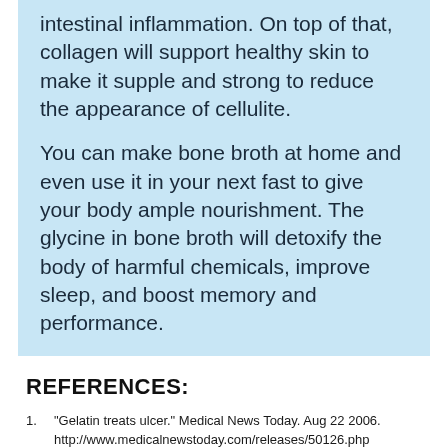intestinal inflammation. On top of that, collagen will support healthy skin to make it supple and strong to reduce the appearance of cellulite.
You can make bone broth at home and even use it in your next fast to give your body ample nourishment. The glycine in bone broth will detoxify the body of harmful chemicals, improve sleep, and boost memory and performance.
REFERENCES:
"Gelatin treats ulcer." Medical News Today. Aug 22 2006. http://www.medicalnewstoday.com/releases/50126.php
Wald, A and Adibi, SA, Stimulation of gastric acid secretion by glycine and related oligopeptides in humans. American